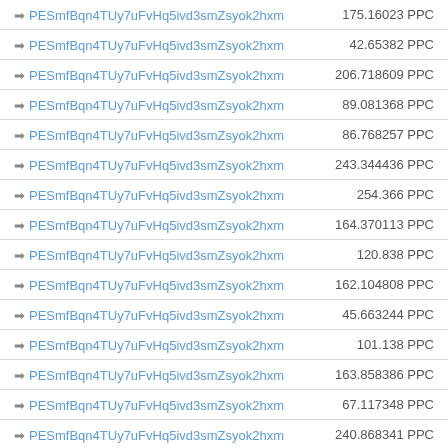| Address | Amount |
| --- | --- |
| ➡ PESmfBqn4TUy7uFvHq5ivd3smZsyok2hxm | 175.16023 PPC |
| ➡ PESmfBqn4TUy7uFvHq5ivd3smZsyok2hxm | 42.65382 PPC |
| ➡ PESmfBqn4TUy7uFvHq5ivd3smZsyok2hxm | 206.718609 PPC |
| ➡ PESmfBqn4TUy7uFvHq5ivd3smZsyok2hxm | 89.081368 PPC |
| ➡ PESmfBqn4TUy7uFvHq5ivd3smZsyok2hxm | 86.768257 PPC |
| ➡ PESmfBqn4TUy7uFvHq5ivd3smZsyok2hxm | 243.344436 PPC |
| ➡ PESmfBqn4TUy7uFvHq5ivd3smZsyok2hxm | 254.366 PPC |
| ➡ PESmfBqn4TUy7uFvHq5ivd3smZsyok2hxm | 164.370113 PPC |
| ➡ PESmfBqn4TUy7uFvHq5ivd3smZsyok2hxm | 120.838 PPC |
| ➡ PESmfBqn4TUy7uFvHq5ivd3smZsyok2hxm | 162.104808 PPC |
| ➡ PESmfBqn4TUy7uFvHq5ivd3smZsyok2hxm | 45.663244 PPC |
| ➡ PESmfBqn4TUy7uFvHq5ivd3smZsyok2hxm | 101.138 PPC |
| ➡ PESmfBqn4TUy7uFvHq5ivd3smZsyok2hxm | 163.858386 PPC |
| ➡ PESmfBqn4TUy7uFvHq5ivd3smZsyok2hxm | 67.117348 PPC |
| ➡ PESmfBqn4TUy7uFvHq5ivd3smZsyok2hxm | 240.868341 PPC |